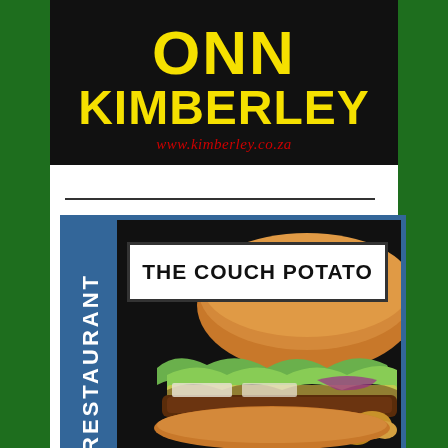[Figure (logo): ONN KIMBERLEY logo with yellow bold text on black background, with red italic URL www.kimberley.co.za]
[Figure (infographic): The Couch Potato restaurant card featuring a burger photo, blue sidebar with 'RESTAURANT' text, and white name box with black border on black background]